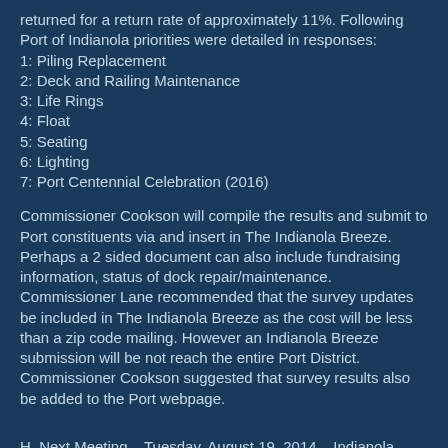returned for a return rate of approximately 11%. Following Port of Indianola priorities were detailed in responses:
1: Piling Replacement
2: Deck and Railing Maintenance
3: Life Rings
4: Float
5: Seating
6: Lighting
7: Port Centennial Celebration (2016)
Commissioner Cookson will compile the results and submit to Port constituents via and insert in The Indianola Breeze. Perhaps a 2 sided document can also include fundraising information, status of dock repair/maintenance.
Commissioner Lane recommended that the survey updates be included in The Indianola Breeze as the cost will be less than a zip code mailing. However an Indianola Breeze submission will be not reach the entire Port District.
Commissioner Cookson suggested that survey results also be added to the Port webpage.
H. Next Meeting – Tuesday, August 19, 2014 – Indianola Clubhouse 7:00 PM